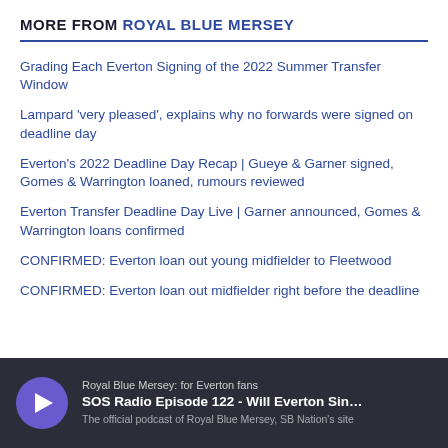MORE FROM ROYAL BLUE MERSEY
Grading Each Everton Signing of the 2022 Summer Transfer Window
Lampard 'very pleased', explains why no forwards were signed on deadline day
Everton's 2022 Deadline Day Recap | Gueye & Garner signed, Gomes & Warrington loaned, rumours reviewed
Everton Transfer Deadline Day Live | Garner announced, Gomes & Warrington loans confirmed
CONFIRMED: Everton loan out young midfielder to Fleetwood
CONFIRMED: Everton loan out midfielder right before the deadline
[Figure (other): Podcast player bar showing Royal Blue Mersey podcast with play button, episode title 'SOS Radio Episode 122 - Will Everton Sin...' and subtitle 'The official podcast of Royal Blue Mersey, SB Nation's site']